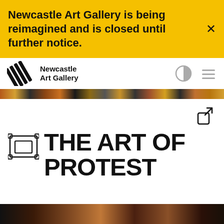Newcastle Art Gallery is being reimagined and is closed until further notice.
[Figure (logo): Newcastle Art Gallery logo with diagonal lines icon and text]
[Figure (other): Share/export icon]
THE ART OF PROTEST
[Figure (photo): Partial view of artwork at bottom of page]